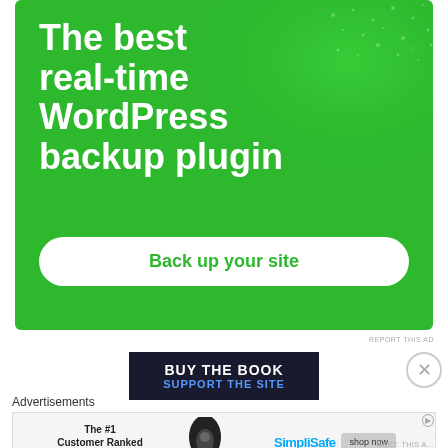[Figure (illustration): Green background WordPress backup plugin advertisement with white bold text reading 'The best real-time WordPress backup plugin' and a white button with green text 'Back up your site']
REPORT THIS AD
[Figure (illustration): Dark banner ad with text 'BUY THE BOOK' and 'SUPPORT THE SITE']
Advertisements
[Figure (illustration): SimpliSafe advertisement: The #1 Customer Ranked Home Security with shop now button]